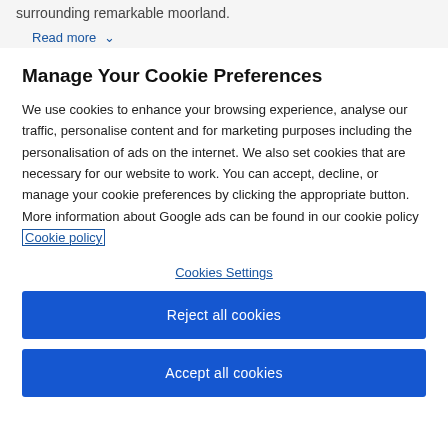surrounding remarkable moorland.
Read more ∨
Manage Your Cookie Preferences
We use cookies to enhance your browsing experience, analyse our traffic, personalise content and for marketing purposes including the personalisation of ads on the internet. We also set cookies that are necessary for our website to work. You can accept, decline, or manage your cookie preferences by clicking the appropriate button. More information about Google ads can be found in our cookie policy Cookie policy
Cookies Settings
Reject all cookies
Accept all cookies